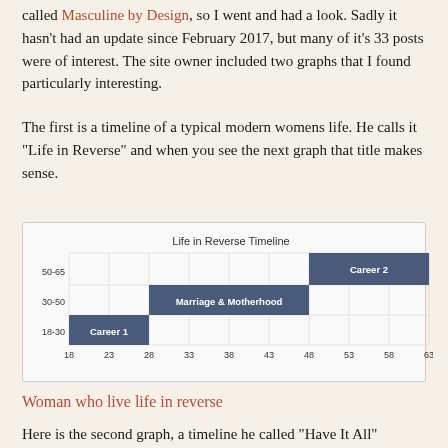called Masculine by Design, so I went and had a look. Sadly it hasn't had an update since February 2017, but many of it's 33 posts were of interest. The site owner included two graphs that I found particularly interesting.
The first is a timeline of a typical modern womens life. He calls it "Life in Reverse" and when you see the next graph that title makes sense.
[Figure (bar-chart): Life in Reverse Timeline]
Woman who live life in reverse
Here is the second graph, a timeline he called "Have It All"